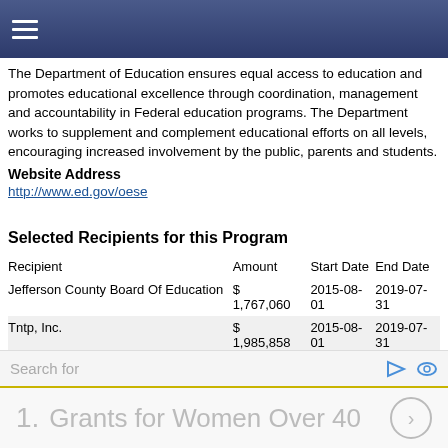≡
The Department of Education ensures equal access to education and promotes educational excellence through coordination, management and accountability in Federal education programs. The Department works to supplement and complement educational efforts on all levels, encouraging increased involvement by the public, parents and students.
Website Address
http://www.ed.gov/oese
Selected Recipients for this Program
| Recipient | Amount | Start Date | End Date |
| --- | --- | --- | --- |
| Jefferson County Board Of Education | $ 1,767,060 | 2015-08-01 | 2019-07-31 |
| Tntp, Inc. | $ 1,985,858 | 2015-08-01 | 2019-07-31 |
Search for
1.  Grants for Women Over 40